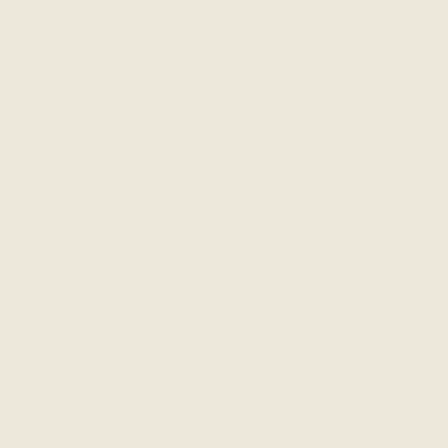OBS Yearling Sale g...
Blue Heaven Farm's (G1) after her victory reigning Horse of the Attard, she has posto $2,093,069 to date. sold by The Acorn at the 2015 April Sale w watch her under ta...
Alfonso Cammarota' headline maker, taki victory for the 3-yea Thoroughbreds cons date. selected sale...
Erich G. Daniel Pita' Florida Sire Susan's September. The 2-ye Services, Inc. (Brent sold to Manuel Pita f to date. selected sa...